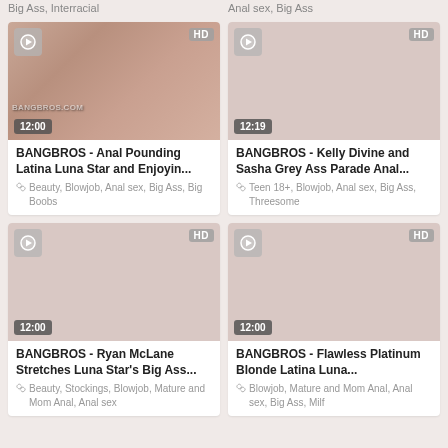Big Ass, Interracial
Anal sex, Big Ass
[Figure (photo): Video thumbnail showing adult content, BANGBROS watermark, duration 12:00]
BANGBROS - Anal Pounding Latina Luna Star and Enjoyin...
Beauty, Blowjob, Anal sex, Big Ass, Big Boobs
[Figure (photo): Video thumbnail placeholder, gray/pink, duration 12:19, HD badge]
BANGBROS - Kelly Divine and Sasha Grey Ass Parade Anal...
Teen 18+, Blowjob, Anal sex, Big Ass, Threesome
[Figure (photo): Video thumbnail placeholder, gray/pink, duration 12:00, HD badge]
BANGBROS - Ryan McLane Stretches Luna Star's Big Ass...
Beauty, Stockings, Blowjob, Mature and Mom Anal, Anal sex
[Figure (photo): Video thumbnail placeholder, gray/pink, duration 12:00, HD badge]
BANGBROS - Flawless Platinum Blonde Latina Luna...
Blowjob, Mature and Mom Anal, Anal sex, Big Ass, Milf